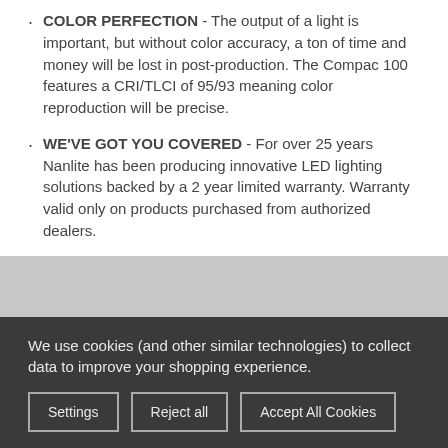COLOR PERFECTION - The output of a light is important, but without color accuracy, a ton of time and money will be lost in post-production. The Compac 100 features a CRI/TLCI of 95/93 meaning color reproduction will be precise.
WE'VE GOT YOU COVERED - For over 25 years Nanlite has been producing innovative LED lighting solutions backed by a 2 year limited warranty. Warranty valid only on products purchased from authorized dealers.
We use cookies (and other similar technologies) to collect data to improve your shopping experience.